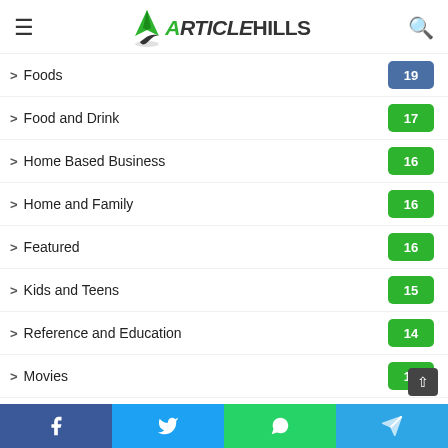ArticleHills
Foods 19
Food and Drink 17
Home Based Business 16
Home and Family 16
Featured 16
Kids and Teens 15
Reference and Education 14
Movies 14
World 13
News 12
Gadgets
Facebook Twitter WhatsApp Telegram